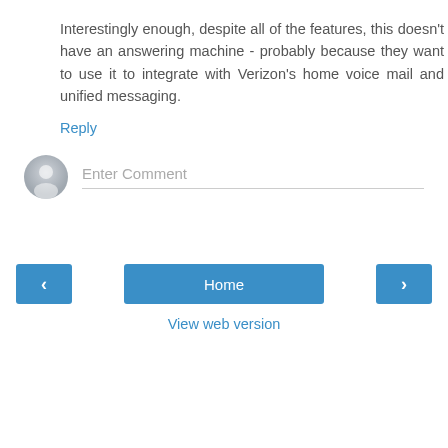Interestingly enough, despite all of the features, this doesn't have an answering machine - probably because they want to use it to integrate with Verizon's home voice mail and unified messaging.
Reply
[Figure (other): Comment input area with user avatar icon and 'Enter Comment' placeholder text field]
[Figure (other): Navigation bar with left arrow button, Home button, and right arrow button]
View web version